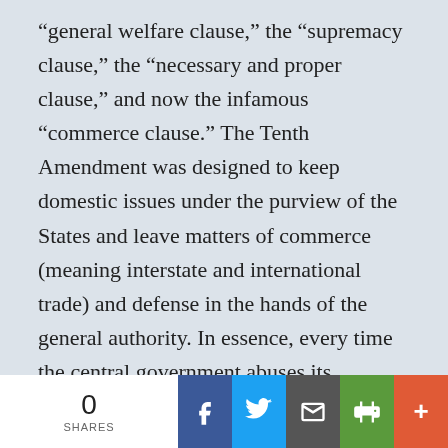“general welfare clause,” the “supremacy clause,” the “necessary and proper clause,” and now the infamous “commerce clause.” The Tenth Amendment was designed to keep domestic issues under the purview of the States and leave matters of commerce (meaning interstate and international trade) and defense in the hands of the general authority. In essence, every time the central government abuses its Constitutional authority it is violating the Tenth Amendment. But for the sake of argument, the most important and
0 SHARES | Facebook | Twitter | Email | Print | More